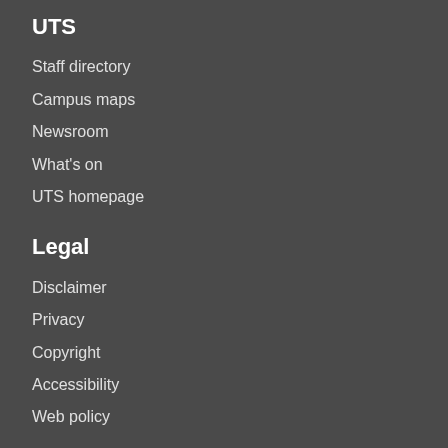UTS
Staff directory
Campus maps
Newsroom
What's on
UTS homepage
Legal
Disclaimer
Privacy
Copyright
Accessibility
Web policy
Contact OPUS
Email
About OPUS